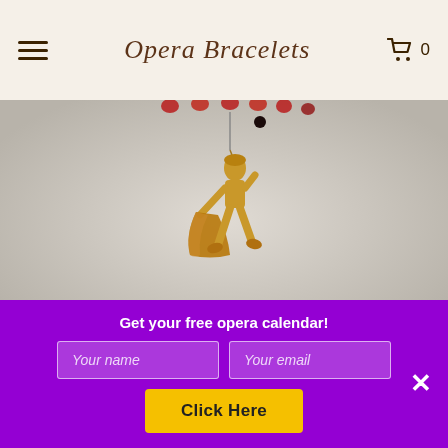Opera Bracelets
[Figure (photo): Close-up photo of a gold matador/torero charm pendant hanging from a red beaded bracelet against a light gray background]
The Carmen Opera Bracelet
$112.00
Get your free opera calendar!
Click Here